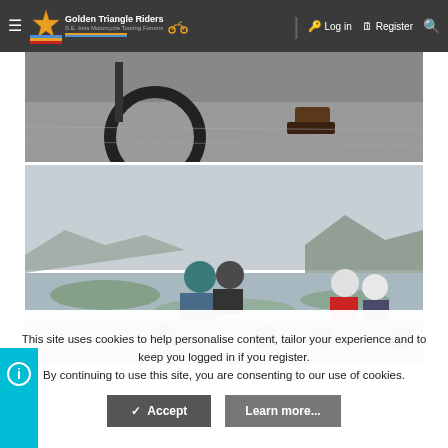Golden Triangle Riders — S.E. Asia Motorcycle Touring Forum | Log in | Register
[Figure (photo): Top portion of a motorcycle and pavement, partial view]
[Figure (photo): Group of motorcycle riders with helmets stopped near a wetland/lake with mountains in background]
This site uses cookies to help personalise content, tailor your experience and to keep you logged in if you register. By continuing to use this site, you are consenting to our use of cookies.
Accept | Learn more...